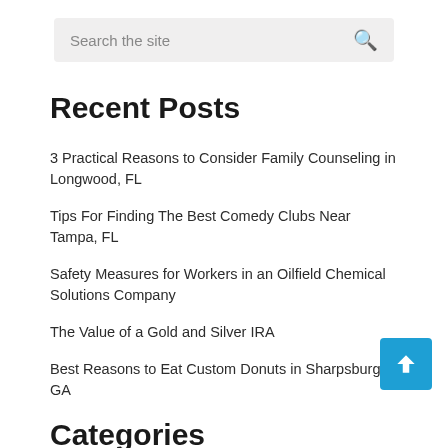Search the site
Recent Posts
3 Practical Reasons to Consider Family Counseling in Longwood, FL
Tips For Finding The Best Comedy Clubs Near Tampa, FL
Safety Measures for Workers in an Oilfield Chemical Solutions Company
The Value of a Gold and Silver IRA
Best Reasons to Eat Custom Donuts in Sharpsburg, GA
Categories